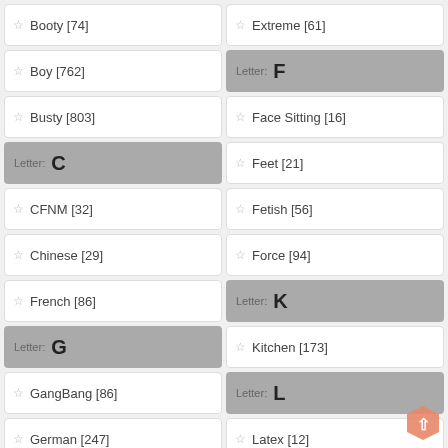Booty [74]
Extreme [61]
Boy [762]
Letter: F
Busty [803]
Face Sitting [16]
Letter: C
Feet [21]
CFNM [32]
Fetish [56]
Chinese [29]
Force [94]
French [86]
Letter: K
Letter: G
Kitchen [173]
GangBang [86]
Letter: L
German [247]
Latex [12]
Granny [1797]
Lesbians [422]
Letter: H
Letter: M
Hairy [348]
Massage [198]